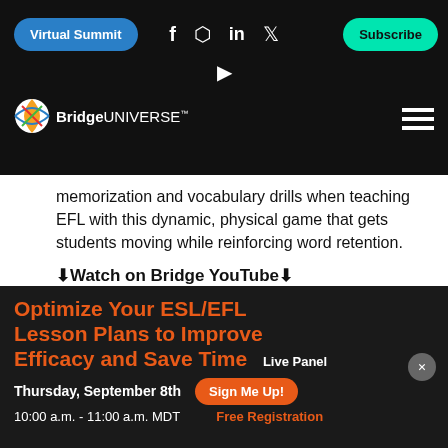Virtual Summit | Subscribe
[Figure (logo): BridgeUNIVERSE logo with colorful globe icon on dark background]
memorization and vocabulary drills when teaching EFL with this dynamic, physical game that gets students moving while reinforcing word retention.
⬇Watch on Bridge YouTube⬇
youtube.com/watch?v=xrVh0Z...
[Figure (screenshot): YouTube video preview card showing TEFL LIKE A PRO thumbnail with play button. Domain: youtube.com. Title: TEFL LIKE A PRO:]
Optimize Your ESL/EFL Lesson Plans to Improve Efficacy and Save Time
Live Panel
Thursday, September 8th
10:00 a.m. - 11:00 a.m. MDT
Sign Me Up!
Free Registration